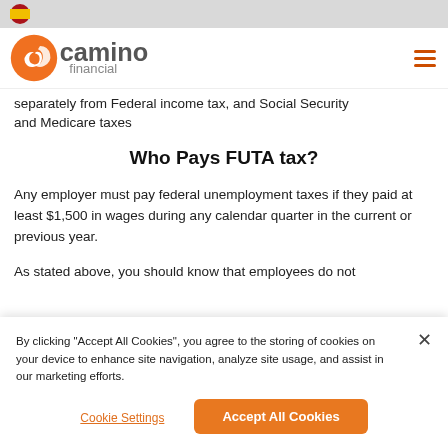🇪🇸 camino financial — navigation bar
separately from Federal income tax, and Social Security and Medicare taxes
Who Pays FUTA tax?
Any employer must pay federal unemployment taxes if they paid at least $1,500 in wages during any calendar quarter in the current or previous year.
As stated above, you should know that employees do not
By clicking "Accept All Cookies", you agree to the storing of cookies on your device to enhance site navigation, analyze site usage, and assist in our marketing efforts.
Cookie Settings
Accept All Cookies